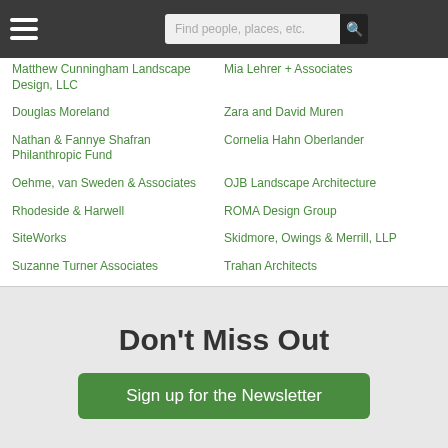Find people, places, etc.
Matthew Cunningham Landscape Design, LLC
Mia Lehrer + Associates
Douglas Moreland
Zara and David Muren
Nathan & Fannye Shafran Philanthropic Fund
Cornelia Hahn Oberlander
Oehme, van Sweden & Associates
OJB Landscape Architecture
Rhodeside & Harwell
ROMA Design Group
SiteWorks
Skidmore, Owings & Merrill, LLP
Suzanne Turner Associates
Trahan Architects
Don't Miss Out
Sign up for the Newsletter